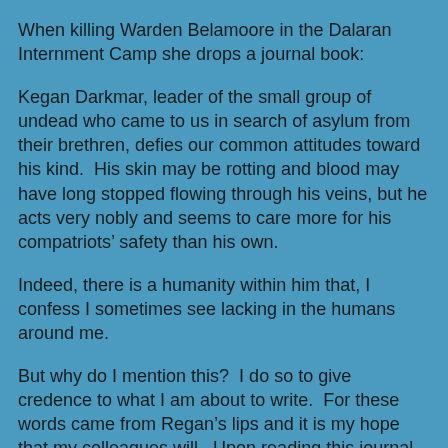When killing Warden Belamoore in the Dalaran Internment Camp she drops a journal book:
Kegan Darkmar, leader of the small group of undead who came to us in search of asylum from their brethren, defies our common attitudes toward his kind.  His skin may be rotting and blood may have long stopped flowing through his veins, but he acts very nobly and seems to care more for his compatriots’ safety than his own.
Indeed, there is a humanity within him that, I confess I sometimes see lacking in the humans around me.
But why do I mention this?  I do so to give credence to what I am about to write.  For these words came from Regan’s lips and it is my hope that my colleagues will.  Upon reading this journal, know why I believe what he said.
Remnants of the Old gods still linger in the deep hollows of the world.  New forces seek to harness that ancient power